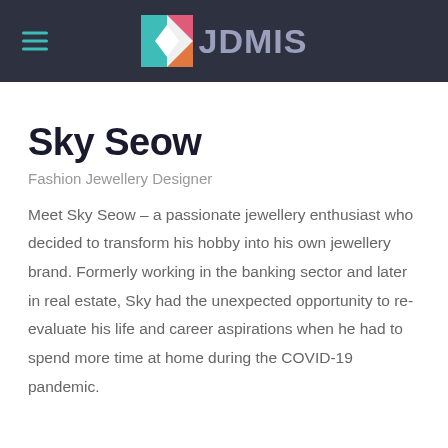JDMIS
Sky Seow
Fashion Jewellery Designer
Meet Sky Seow – a passionate jewellery enthusiast who decided to transform his hobby into his own jewellery brand. Formerly working in the banking sector and later in real estate, Sky had the unexpected opportunity to re-evaluate his life and career aspirations when he had to spend more time at home during the COVID-19 pandemic.